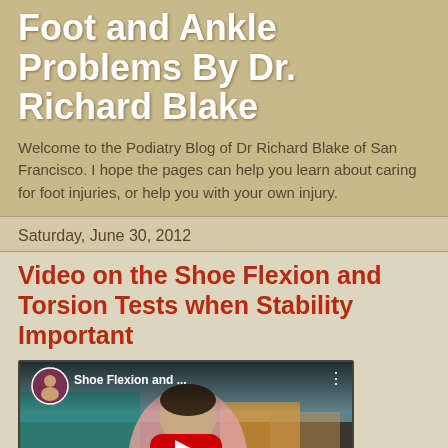Foot and Ankle Problems By Dr. Richard Blake
Welcome to the Podiatry Blog of Dr Richard Blake of San Francisco. I hope the pages can help you learn about caring for foot injuries, or help you with your own injury.
Saturday, June 30, 2012
Video on the Shoe Flexion and Torsion Tests when Stability Important
[Figure (screenshot): YouTube video thumbnail showing a man in a pink shirt in a room with colorful balloons and equipment, with title 'Shoe Flexion and ...' and a red YouTube play button overlay]